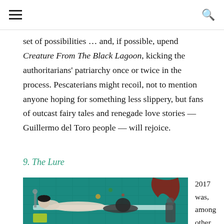set of possibilities … and, if possible, upend Creature From The Black Lagoon, kicking the authoritarians' patriarchy once or twice in the process. Pescaterians might recoil, not to mention anyone hoping for something less slippery, but fans of outcast fairy tales and renegade love stories — Guillermo del Toro people — will rejoice.
9. The Lure
[Figure (photo): A still from the film The Lure showing two figures in a bathtub in a teal/turquoise tiled bathroom]
2017 was, among other things, a big year for the